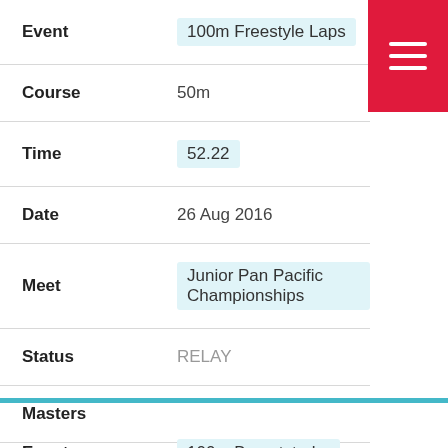| Field | Value |
| --- | --- |
| Event | 100m Freestyle Laps |
| Course | 50m |
| Time | 52.22 |
| Date | 26 Aug 2016 |
| Meet | Junior Pan Pacific Championships |
| Status | RELAY |
| Masters |  |
| Records |  |
Event   100m Breaststroke